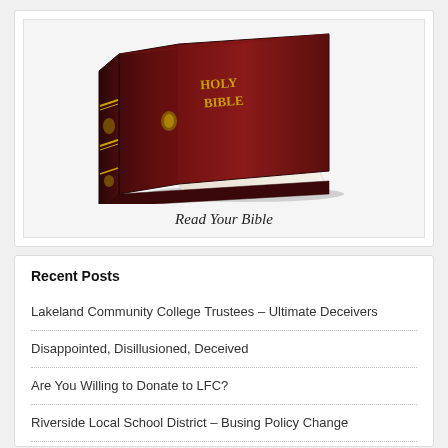[Figure (photo): A Holy Bible book with dark red/maroon leather cover displayed at an angle on a white background]
Read Your Bible
Recent Posts
Lakeland Community College Trustees – Ultimate Deceivers
Disappointed, Disillusioned, Deceived
Are You Willing to Donate to LFC?
Riverside Local School District – Busing Policy Change